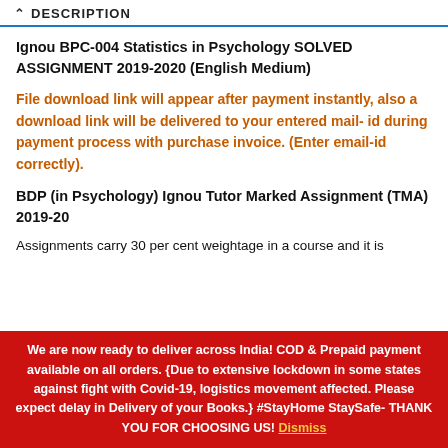^ DESCRIPTION
Ignou BPC-004 Statistics in Psychology SOLVED ASSIGNMENT 2019-2020 (English Medium)
File download link will appear after payment instantly, also a download link will be delivered to your entered mail- id during payment process with purchase invoice. (Enter email-id correctly).
BDP (in Psychology) Ignou Tutor Marked Assignment (TMA) 2019-20
Assignments carry 30 per cent weightage in a course and it is
We are now ready to deliver across India! COD & Prepaid payment available on all orders. {Due to extensive lockdown in some states against fight with Covid-19, logistics movement affected. Please expect delay in Delivery of your Books.} #StayHome StaySafe- THANK YOU FOR CHOOSING US! Dismiss